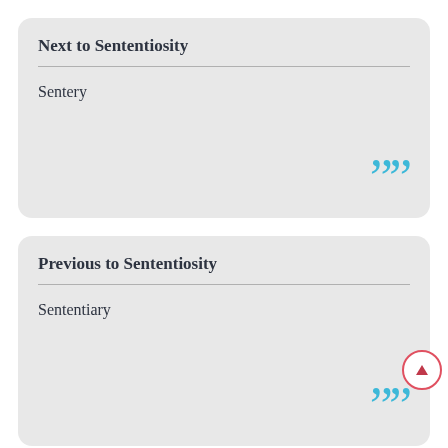Next to Sententiosity
Sentery
Previous to Sententiosity
Sententiary